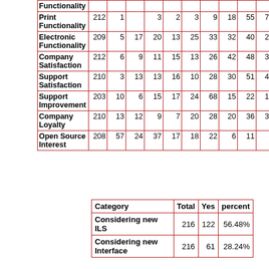| Category | N | 1 | 2 | 3 | 4 | 5 | 6 | 7 | 8 | 9 |
| --- | --- | --- | --- | --- | --- | --- | --- | --- | --- | --- |
| Functionality |  |  |  |  |  |  |  |  |  |  |
| Print Functionality | 212 | 1 |  | 3 | 2 | 3 | 9 | 18 | 55 | 79 | 42 |
| Electronic Functionality | 209 | 5 | 17 | 20 | 13 | 25 | 33 | 32 | 40 | 20 | 4 |
| Company Satisfaction | 212 | 6 | 9 | 11 | 15 | 13 | 26 | 42 | 48 | 35 | 7 |
| Support Satisfaction | 210 | 3 | 13 | 13 | 16 | 10 | 28 | 30 | 51 | 41 | 5 |
| Support Improvement | 203 | 10 | 6 | 15 | 17 | 24 | 68 | 15 | 22 | 17 | 9 |
| Company Loyalty | 210 | 13 | 12 | 9 | 7 | 20 | 28 | 20 | 36 | 36 | 29 |
| Open Source Interest | 208 | 57 | 24 | 37 | 17 | 18 | 22 | 6 | 11 | 6 | 10 |
| Category | Total | Yes | percent |
| --- | --- | --- | --- |
| Considering new ILS | 216 | 122 | 56.48% |
| Considering new Interface | 216 | 61 | 28.24% |